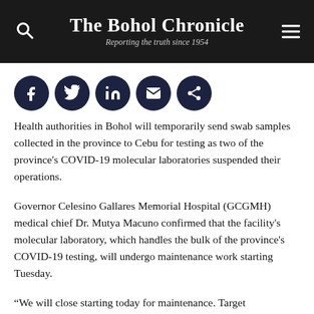The Bohol Chronicle — Reporting the truth since 1954
[Figure (infographic): Social share icons: Facebook, Twitter, LinkedIn, Email, Share — dark navy circular buttons]
Health authorities in Bohol will temporarily send swab samples collected in the province to Cebu for testing as two of the province's COVID-19 molecular laboratories suspended their operations.
Governor Celesino Gallares Memorial Hospital (GCGMH) medical chief Dr. Mutya Macuno confirmed that the facility's molecular laboratory, which handles the bulk of the province's COVID-19 testing, will undergo maintenance work starting Tuesday.
“We will close starting today for maintenance. Target